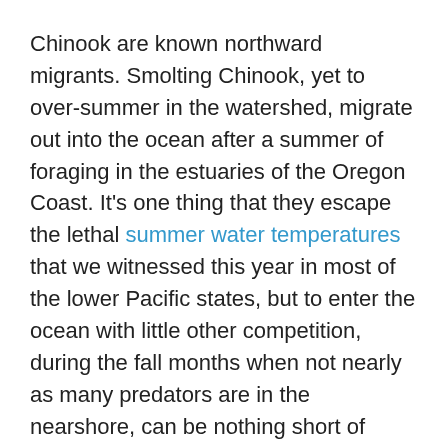Chinook are known northward migrants. Smolting Chinook, yet to over-summer in the watershed, migrate out into the ocean after a summer of foraging in the estuaries of the Oregon Coast. It's one thing that they escape the lethal summer water temperatures that we witnessed this year in most of the lower Pacific states, but to enter the ocean with little other competition, during the fall months when not nearly as many predators are in the nearshore, can be nothing short of advantageous.
Birds have an inconsistent source of available forage because the bulk of the forage species have headed for deeper water, and they've now migrated south in hopes of more favorable foraging options, leaving juvenile Chinook salmon with much to be thankful for. The final ecosystem advantage is the systemic elimination of their competition due to the changes humans have caused in freshwater ecosystems. The Chinook life-